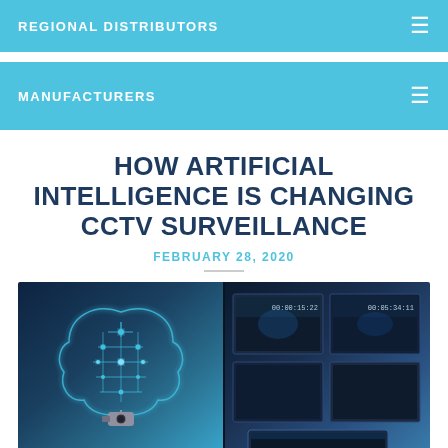REGIONAL DISTRIBUTORS
MANUFACTURERS
HOW ARTIFICIAL INTELLIGENCE IS CHANGING CCTV SURVEILLANCE
FEBRUARY 28, 2020
[Figure (photo): Composite image showing an AI brain made of circuit board patterns on the left and a CCTV surveillance monitor wall on the right, both in blue tones]